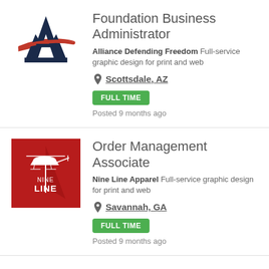[Figure (logo): Alliance Defending Freedom logo: stylized letter A in dark blue/navy with a red horizontal swoosh]
Foundation Business Administrator
Alliance Defending Freedom Full-service graphic design for print and web
Scottsdale, AZ
FULL TIME
Posted 9 months ago
[Figure (logo): Nine Line Apparel logo: red square background with white helicopter silhouette and text NINE LINE]
Order Management Associate
Nine Line Apparel Full-service graphic design for print and web
Savannah, GA
FULL TIME
Posted 9 months ago